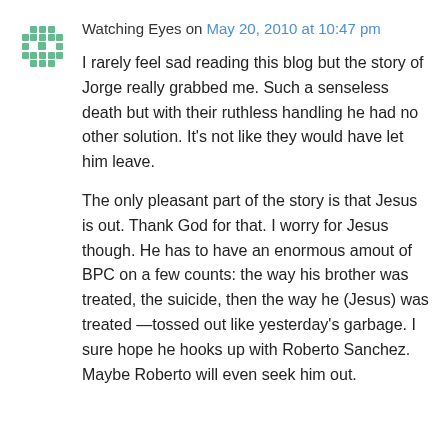Watching Eyes on May 20, 2010 at 10:47 pm
I rarely feel sad reading this blog but the story of Jorge really grabbed me. Such a senseless death but with their ruthless handling he had no other solution. It’s not like they would have let him leave.
The only pleasant part of the story is that Jesus is out. Thank God for that. I worry for Jesus though. He has to have an enormous amout of BPC on a few counts: the way his brother was treated, the suicide, then the way he (Jesus) was treated —tossed out like yesterday’s garbage. I sure hope he hooks up with Roberto Sanchez. Maybe Roberto will even seek him out.